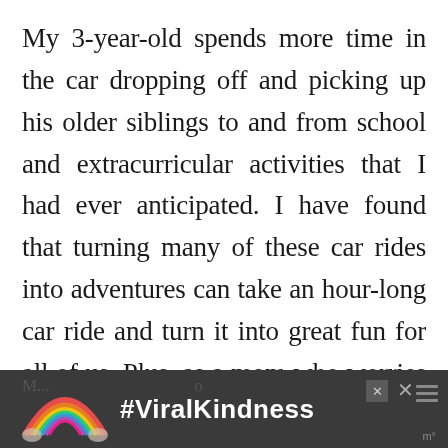My 3-year-old spends more time in the car dropping off and picking up his older siblings to and from school and extracurricular activities that I had ever anticipated. I have found that turning many of these car rides into adventures can take an hour-long car ride and turn it into great fun for all of us. Plus, as a mom who worries about everything, I find peace in trusting our Maxi-Cosi
[Figure (screenshot): Advertisement banner at bottom of page showing a rainbow graphic on dark background with the text #ViralKindness in bold white, and close/mute buttons]